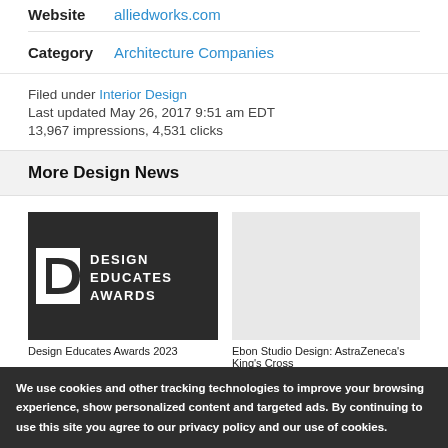Website   alliedworks.com
Category   Architecture Companies
Filed under Interior Design
Last updated May 26, 2017 9:51 am EDT
13,967 impressions, 4,531 clicks
More Design News
[Figure (photo): Design Educates Awards logo on dark background]
[Figure (photo): Light gray placeholder card image]
Design Educates Awards 2023
Ebon Studio Design: AstraZeneca's King's Cross
We use cookies and other tracking technologies to improve your browsing experience, show personalized content and targeted ads. By continuing to use this site you agree to our privacy policy and our use of cookies.